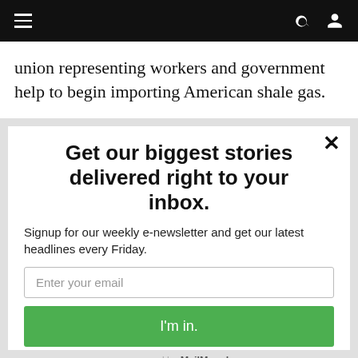Navigation bar with hamburger menu, search icon, and user icon
union representing workers and government help to begin importing American shale gas.
Get our biggest stories delivered right to your inbox.
Signup for our weekly e-newsletter and get our latest headlines every Friday.
Enter your email
I'm in.
powered by MailMunch